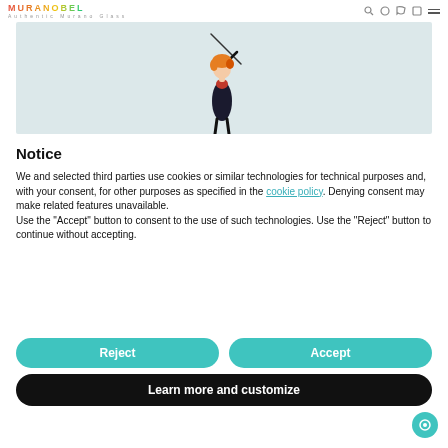MURANOBEL Authentic Murano Glass
[Figure (photo): A Murano glass figurine of a woman with orange/red hair holding a conductor's baton, set against a light blue-grey background]
Notice
We and selected third parties use cookies or similar technologies for technical purposes and, with your consent, for other purposes as specified in the cookie policy. Denying consent may make related features unavailable.
Use the “Accept” button to consent to the use of such technologies. Use the “Reject” button to continue without accepting.
Reject
Accept
Learn more and customize